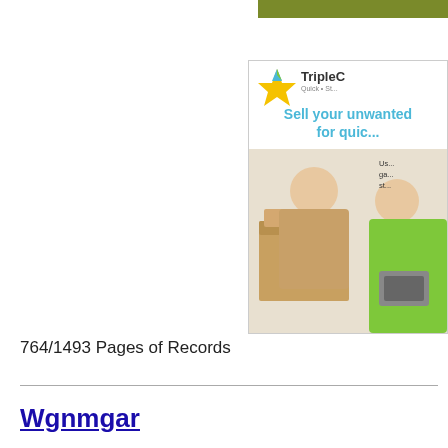[Figure (photo): Advertisement banner with TripleC logo and text 'Sell your unwanted... for quic...' showing two people with a box of items]
764/1493 Pages of Records
Wgnmgar